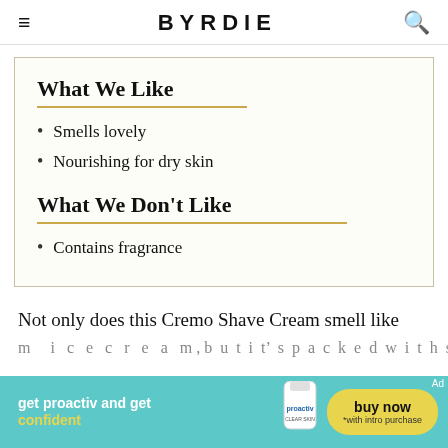BYRDIE
What We Like
Smells lovely
Nourishing for dry skin
What We Don't Like
Contains fragrance
Not only does this Cremo Shave Cream smell like
[Figure (screenshot): Proactiv advertisement banner: 'get proactiv and get confident' with buy now button]